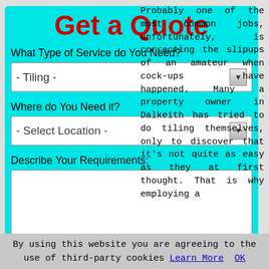[Figure (screenshot): Get a Quote web form with cyan background, containing title 'Get a Quote' in red, service type dropdown showing '- Tiling -', location dropdown showing '- Select Location -', text area for requirements, and green SUBMIT button]
Probably one of the most common jobs, unfortunately, is correcting the slipups of an amateur when cock-ups have happened. Many a property owner in Dalkeith has tried to do tiling themselves, only to discover that it's not quite as easy as they at first thought. That is why employing a
By using this website you are agreeing to the use of third-party cookies Learn More  OK